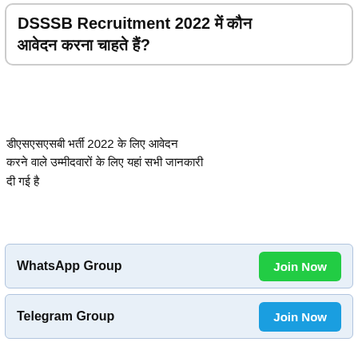DSSSB Recruitment 2022 में कौन आवेदन करना चाहते हैं?
डीएसएसएसबी भर्ती 2022 के लिए आवेदन करने वाले उम्मीदवारों के लिए यहां सभी जानकारी दी गई है
WhatsApp Group   Join Now
Telegram Group   Join Now
Leave a Comment